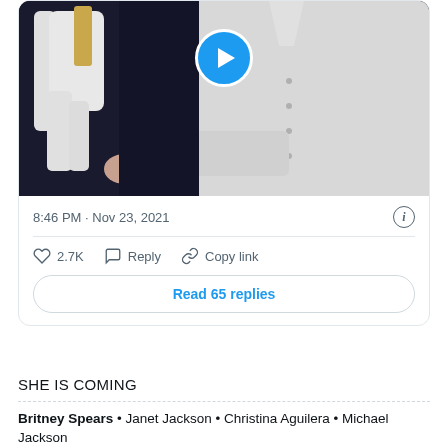[Figure (screenshot): Video thumbnail showing a person in a white button-up shirt with a mannequin/figure on the left, dark background, with a blue play button circle overlay at top center]
8:46 PM · Nov 23, 2021
2.7K   Reply   Copy link
Read 65 replies
SHE IS COMING
Britney Spears • Janet Jackson • Christina Aguilera • Michael Jackson